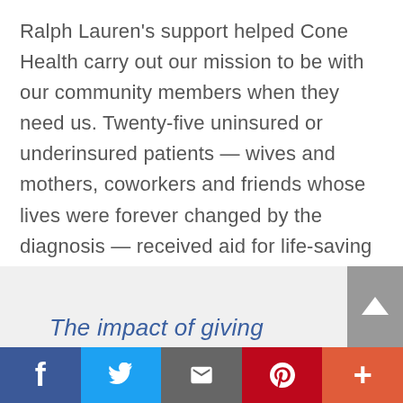Ralph Lauren's support helped Cone Health carry out our mission to be with our community members when they need us. Twenty-five uninsured or underinsured patients — wives and mothers, coworkers and friends whose lives were forever changed by the diagnosis — received aid for life-saving medications, lymphedema supplies, housing and utility costs, and other daily necessities.
The impact of giving